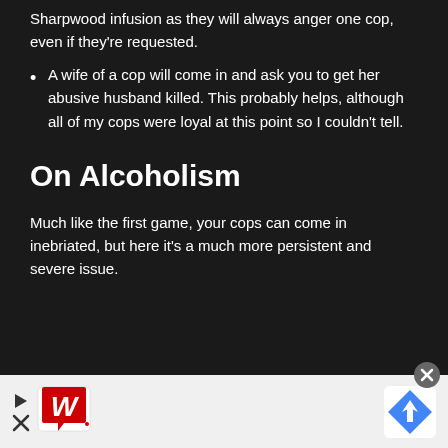Sharpwood infusion as they will always anger one cop, even if they're requested.
A wife of a cop will come in and ask you to get her abusive husband killed. This probably helps, although all of my cops were loyal at this point so I couldn't tell.
On Alcoholism
Much like the first game, your cops can come in inebriated, but here it's a much more persistent and severe issue.
[Figure (other): Advertisement banner for Walgreens with a Walgreens logo (red italic W on white background with red speech bubble), a play button triangle, a close X button, a circular close button (gray with X), and a Google Maps navigation icon (blue diamond with white arrow).]